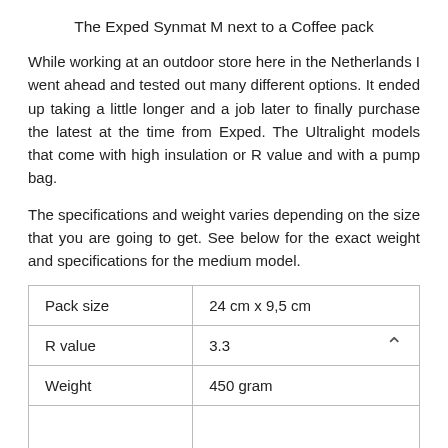The Exped Synmat M next to a Coffee pack
While working at an outdoor store here in the Netherlands I went ahead and tested out many different options. It ended up taking a little longer and a job later to finally purchase the latest at the time from Exped. The Ultralight models that come with high insulation or R value and with a pump bag.
The specifications and weight varies depending on the size that you are going to get. See below for the exact weight and specifications for the medium model.
| Pack size | 24 cm x 9,5 cm |
| R value | 3.3 |
| Weight | 450 gram |